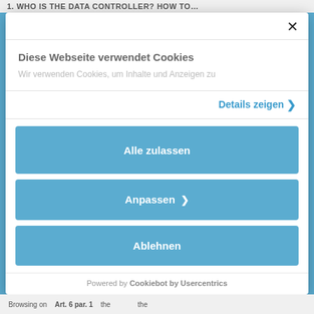1. WHO IS THE DATA CONTROLLER? HOW TO…
×
Diese Webseite verwendet Cookies
Wir verwenden Cookies, um Inhalte und Anzeigen zu
Details zeigen ›
Alle zulassen
Anpassen ›
Ablehnen
Powered by Cookiebot by Usercentrics
Browsing on   Art. 6 par. 1   the   the